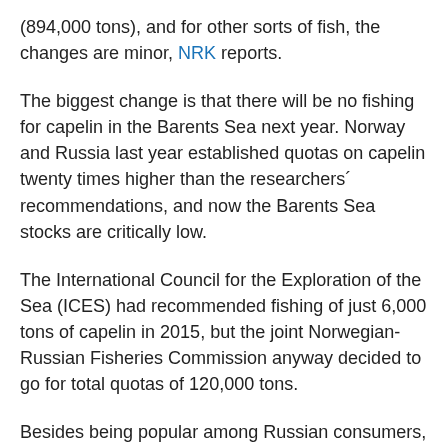(894,000 tons), and for other sorts of fish, the changes are minor, NRK reports.
The biggest change is that there will be no fishing for capelin in the Barents Sea next year. Norway and Russia last year established quotas on capelin twenty times higher than the researchers´ recommendations, and now the Barents Sea stocks are critically low.
The International Council for the Exploration of the Sea (ICES) had recommended fishing of just 6,000 tons of capelin in 2015, but the joint Norwegian-Russian Fisheries Commission anyway decided to go for total quotas of 120,000 tons.
Besides being popular among Russian consumers, capelin is used for fish meal and fish oil products, and is also very important in the food chain in the Barents Sea as food for cod, marine birds and marine mammals.